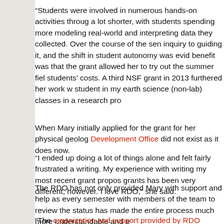“Students were involved in numerous hands-on activities through a lot shorter, with students spending more modeling real-world and interpreting data they collected. Over the course of the sem inquiry to guiding it, and the shift in student autonomy was evid benefit was that the grant allowed her to try out the summer fie students’ costs. A third NSF grant in 2013 furthered her work w student in my earth science (non-lab) classes in a research pro
When Mary initially applied for the grant for her physical geolo Development Office did not exist as it does now.
“I ended up doing a lot of things alone and felt fairly frustrated a writing. My experience with writing my most recent grant propos grants has been very different, however. I love RDO,” she said.
The RDO has not only provided Mary with support and help as every semester with members of the team to review the status has made the entire process much more understandable and e
“The organization and support provided by RDO makes me mu challenges that I might not have considered otherwise,” Mary s innovations these grants have allowed me to implement can